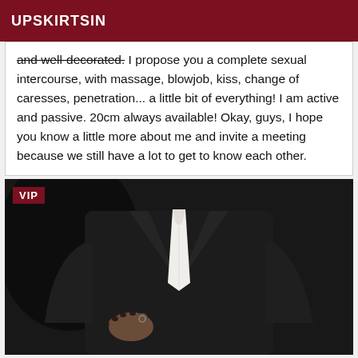UPSKIRTSIN
and well-decorated. I propose you a complete sexual intercourse, with massage, blowjob, kiss, change of caresses, penetration... a little bit of everything! I am active and passive. 20cm always available! Okay, guys, I hope you know a little more about me and invite a meeting because we still have a lot to get to know each other.
[Figure (photo): A person in a black suit wearing a white tie, photographed from chest level, head not visible. A hand is visible at the lower portion. Dark background. VIP badge in upper left corner.]